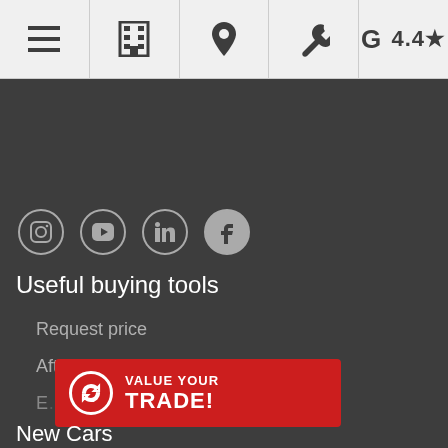[Navigation bar with hamburger menu, building icon, location pin, wrench/service icon, G 4.4 star rating]
[Figure (screenshot): Social media icons row: Instagram, YouTube, LinkedIn, Facebook]
Useful buying tools
Request price
After sales service
ENTRE Promotions
[Figure (infographic): VALUE YOUR TRADE! red button with circular arrow icon]
New Cars